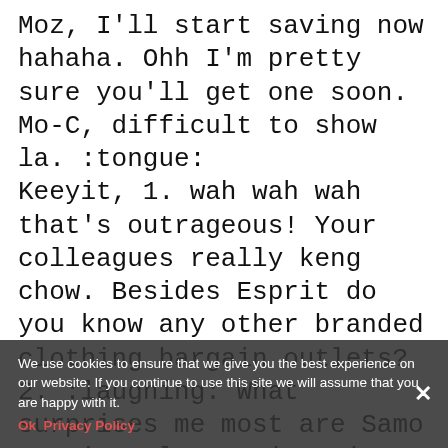Moz, I'll start saving now hahaha. Ohh I'm pretty sure you'll get one soon.
Mo-C, difficult to show la. :tongue:
Keeyit, 1. wah wah wah that's outrageous! Your colleagues really keng chow. Besides Esprit do you know any other branded clothing bargain outlets?
2. :laughing: What surprises me most are Samo Hung's palm...quite tiny for a big man like him.
3. Oh yes I walked pass the Shuan Ming area but that time not much customer.
4. We tried another one with ginseng. Nice also.
MonkeyWong, then you'll want to go back again. I heard AirAsia is going to have a direct route to HK soon.
We use cookies to ensure that we give you the best experience on our website. If you continue to use this site we will assume that you are happy with it.
Ok  Privacy Policy